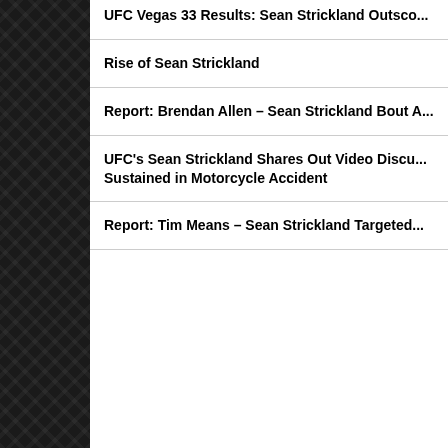[Figure (other): Dark textured sidebar with diagonal crosshatch pattern on left side of page]
UFC Vegas 33 Results: Sean Strickland Outscores...
Rise of Sean Strickland
Report: Brendan Allen – Sean Strickland Bout A...
UFC's Sean Strickland Shares Out Video Discussing Injuries Sustained in Motorcycle Accident
Report: Tim Means – Sean Strickland Targeted...